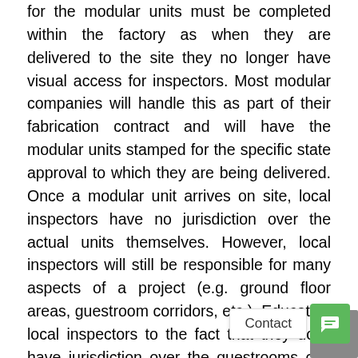for the modular units must be completed within the factory as when they are delivered to the site they no longer have visual access for inspectors. Most modular companies will handle this as part of their fabrication contract and will have the modular units stamped for the specific state approval to which they are being delivered. Once a modular unit arrives on site, local inspectors have no jurisdiction over the actual units themselves. However, local inspectors will still be responsible for many aspects of a project (e.g. ground floor areas, guestroom corridors, etc.). Educating local inspectors to the fact that they don't have jurisdiction over the guestrooms can be a delicate issue. I hope this [er] guide you through aspects of modular